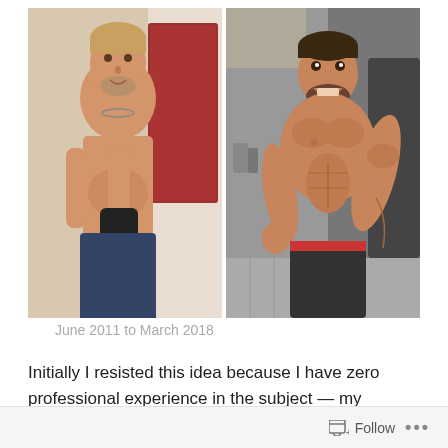[Figure (photo): Before and after fitness transformation photos side by side. Left photo shows a man with light hair taking a shirtless mirror selfie with a phone, slight belly, casual pose, from June 2011. Right photo shows the same or similar man with darker styled hair, visibly more muscular and lean, shirtless, flexing pose, from March 2018.]
June 2011 to March 2018
Initially I resisted this idea because I have zero professional experience in the subject — my
Follow ...